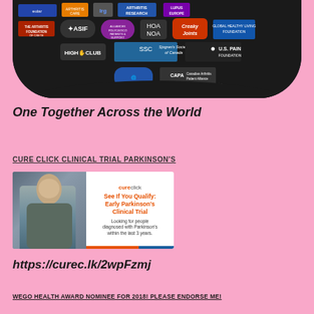[Figure (illustration): Banner image showing logos of multiple arthritis and autoimmune disease patient organizations on a dark background with curved bottom edge. Logos include eular, ASIF, Arthritis Care, lrg, Arthritis Research, Lupus Europe, The Arthritis Foundation of Crete, Sjogren's Society of Canada, US Pain Foundation, CAPA Canadian Arthritis Patient Alliance, High5 Club, and others.]
One Together Across the World
Cure Click Clinical Trial Parkinson's
[Figure (photo): Advertisement for CureClick Early Parkinson's Clinical Trial. Left half shows a photo of a woman. Right half on white background shows: 'cureclick' logo, headline 'See If You Qualify: Early Parkinson's Clinical Trial', subtext 'Looking for people diagnosed with Parkinson's within the last 3 years.' Bottom has orange and blue bar.]
https://curec.lk/2wpFzmj
WEGO HEALTH AWARD NOMINEE FOR 2018! PLEASE ENDORSE ME!